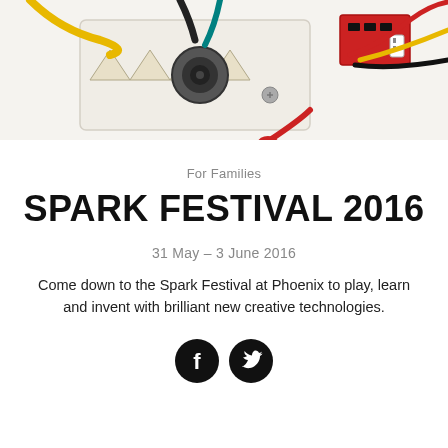[Figure (photo): Close-up photo of electronic circuit boards, wires, and components including coloured wires (yellow, black, green, red), a white PCB with triangular LED pads, a round speaker component, and a small red circuit board with connectors.]
For Families
SPARK FESTIVAL 2016
31 May – 3 June 2016
Come down to the Spark Festival at Phoenix to play, learn and invent with brilliant new creative technologies.
[Figure (infographic): Facebook and Twitter social media icons (black circles with white f and bird logos)]